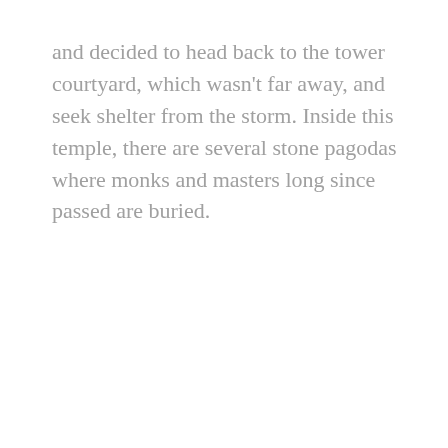and decided to head back to the tower courtyard, which wasn't far away, and seek shelter from the storm. Inside this temple, there are several stone pagodas where monks and masters long since passed are buried.